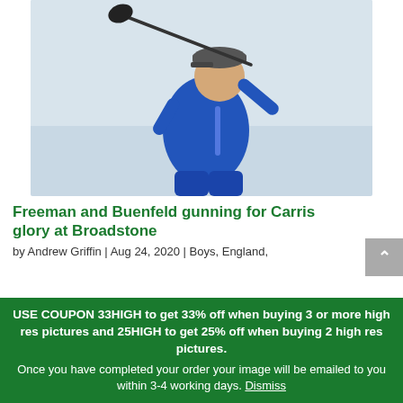[Figure (photo): Young male golfer in blue jacket mid-swing with a driver, photographed from below against a light sky background]
Freeman and Buenfeld gunning for Carris glory at Broadstone
by Andrew Griffin | Aug 24, 2020 | Boys, England,
USE COUPON 33HIGH to get 33% off when buying 3 or more high res pictures and 25HIGH to get 25% off when buying 2 high res pictures. Once you have completed your order your image will be emailed to you within 3-4 working days. Dismiss